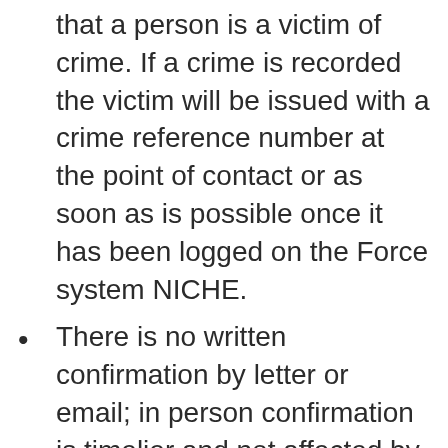that a person is a victim of crime. If a crime is recorded the victim will be issued with a crime reference number at the point of contact or as soon as is possible once it has been logged on the Force system NICHE.
There is no written confirmation by letter or email; in person confirmation is timelier and not affected by delays by post or incorrect emails.
It was agreed that this approach